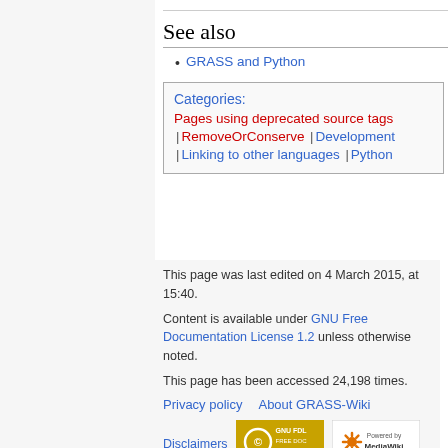See also
GRASS and Python
Categories: Pages using deprecated source tags | RemoveOrConserve | Development | Linking to other languages | Python
This page was last edited on 4 March 2015, at 15:40.
Content is available under GNU Free Documentation License 1.2 unless otherwise noted.
This page has been accessed 24,198 times.
Privacy policy   About GRASS-Wiki   Disclaimers